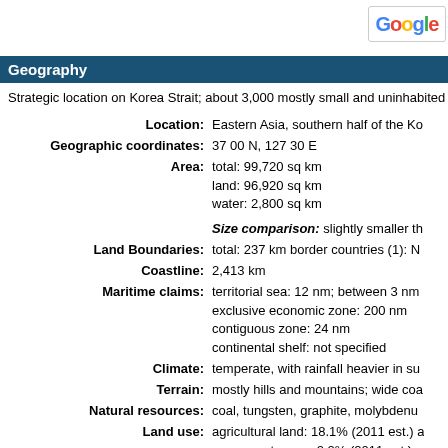[Figure (logo): Google logo in top right corner]
Geography
Strategic location on Korea Strait; about 3,000 mostly small and uninhabited islands
Location: Eastern Asia, southern half of the Korean Peninsula bordering the Sea of Japan and the Yellow Sea
Geographic coordinates: 37 00 N, 127 30 E
Area: total: 99,720 sq km land: 96,920 sq km water: 2,800 sq km
Size comparison: slightly smaller than Pennsylvania
Land Boundaries: total: 237 km border countries (1): North Korea 237 km
Coastline: 2,413 km
Maritime claims: territorial sea: 12 nm; between 3 nm and 12 nm in the Korea Strait exclusive economic zone: 200 nm contiguous zone: 24 nm continental shelf: not specified
Climate: temperate, with rainfall heavier in summer than winter; cold winters
Terrain: mostly hills and mountains; wide coastal plains in west and south
Natural resources: coal, tungsten, graphite, molybdenum, lead, hydropower potential
Land use: agricultural land: 18.1% (2011 est.) arable land: 15.3% (2011 est.) permanent crops: 2.2% (2011 est.) permanent pasture: 0.6% (2011 est.) forest: 63.9% (2011 est.) other: 18% (2011 est.)
Irrigated land: 7,780 sq km (2012)